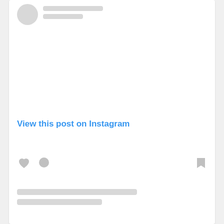[Figure (screenshot): Instagram post embed placeholder showing a card with a blurred avatar, name placeholders, 'View this post on Instagram' link, action icons (heart, comment, bookmark), and text placeholder bars at the bottom.]
View this post on Instagram